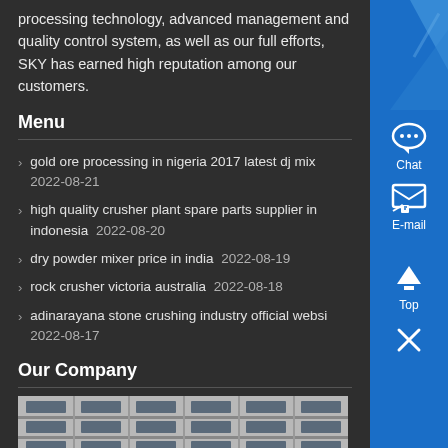processing technology, advanced management and quality control system, as well as our full efforts, SKY has earned high reputation among our customers.
Menu
gold ore processing in nigeria 2017 latest dj mix  2022-08-21
high quality crusher plant spare parts supplier in indonesia  2022-08-20
dry powder mixer price in india  2022-08-19
rock crusher victoria australia  2022-08-18
adinarayana stone crushing industry official websi  2022-08-17
Our Company
[Figure (photo): Exterior view of a multi-story building with large windows and modern architecture, shown in grayscale]